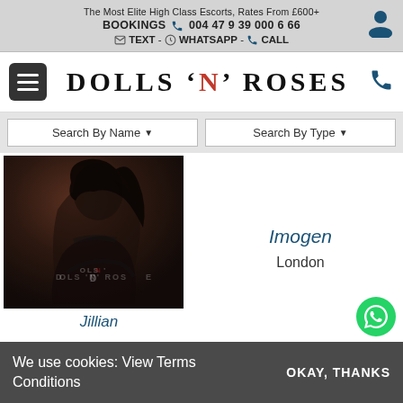The Most Elite High Class Escorts, Rates From £600+
BOOKINGS 004479390006 66
TEXT - WHATSAPP - CALL
DOLLS 'N' ROSES
Search By Name▼
Search By Type▼
[Figure (photo): Photo of a woman in black lingerie with Dolls N Roses watermark]
Jillian
Imogen
London
We use cookies: View Terms Conditions     OKAY, THANKS